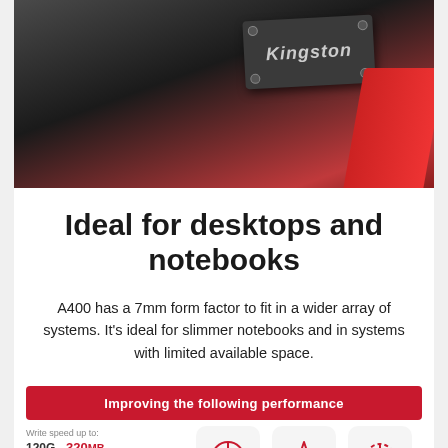[Figure (photo): Close-up photo of a Kingston SSD drive installed in a computer system, with red cables visible in the background, dark metal chassis]
Ideal for desktops and notebooks
A400 has a 7mm form factor to fit in a wider array of systems. It's ideal for slimmer notebooks and in systems with limited available space.
Improving the following performance
Write speed up to:
120G 320MB
A400 350MB